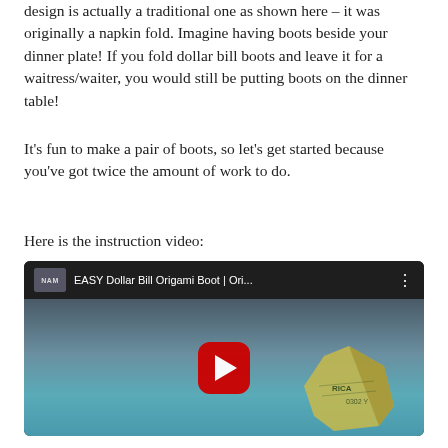design is actually a traditional one as shown here – it was originally a napkin fold. Imagine having boots beside your dinner plate! If you fold dollar bill boots and leave it for a waitress/waiter, you would still be putting boots on the dinner table!
It's fun to make a pair of boots, so let's get started because you've got twice the amount of work to do.
Here is the instruction video:
[Figure (screenshot): YouTube video thumbnail for 'EASY Dollar Bill Origami Boot | Ori...' showing a dollar bill folded into a boot shape against a blue/teal background, with a red play button in the center and the channel logo (NAM) in the top left corner.]